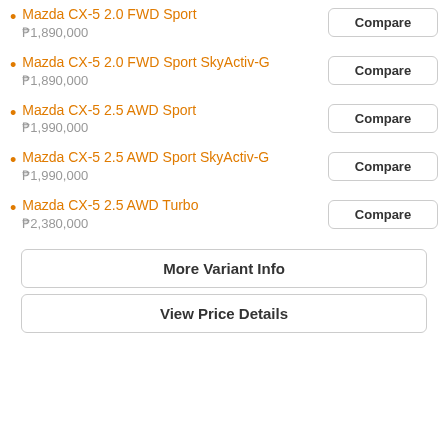Mazda CX-5 2.0 FWD Sport
₱1,890,000
Mazda CX-5 2.0 FWD Sport SkyActiv-G
₱1,890,000
Mazda CX-5 2.5 AWD Sport
₱1,990,000
Mazda CX-5 2.5 AWD Sport SkyActiv-G
₱1,990,000
Mazda CX-5 2.5 AWD Turbo
₱2,380,000
More Variant Info
View Price Details